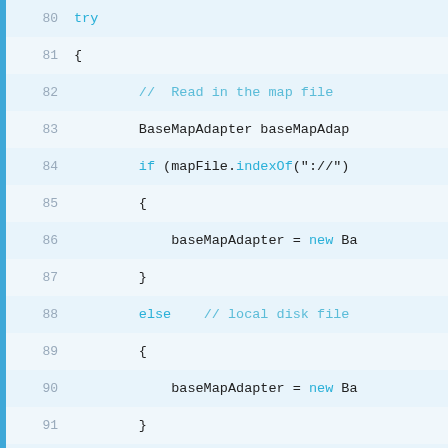[Figure (screenshot): Source code viewer showing lines 80-98 of a program. The code includes a try block with map file reading logic, BaseMapAdapter instantiation, if/else branches for URL vs local disk file handling, and ScalarMap variable declarations for latMap and lonMap. Line numbers are shown in gray on the left, with a blue vertical bar on the far left. Keywords like 'if', 'else', 'new' are highlighted in cyan/blue, and comments are in light blue.]